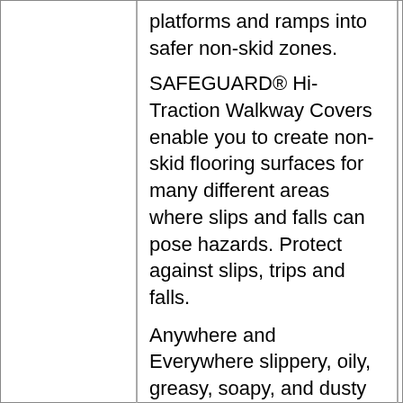platforms and ramps into safer non-skid zones.
SAFEGUARD® Hi-Traction Walkway Covers enable you to create non-skid flooring surfaces for many different areas where slips and falls can pose hazards. Protect against slips, trips and falls.
Anywhere and Everywhere slippery, oily, greasy, soapy, and dusty conditions exist, SAFEGUARD® Covers offer the anti-slip solution, including:
Workstations
Univeristy & College campus
Stair landings
Locker rooms
Kitchen and galley floors
Residential decks and ramps
Greasy food processing plants
Chemical plants